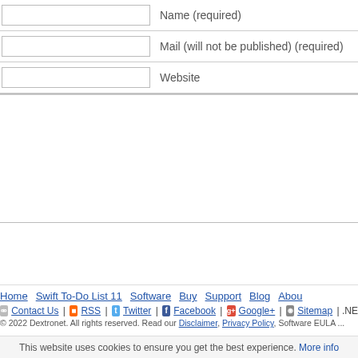Name (required)
Mail (will not be published) (required)
Website
Home | Swift To-Do List 11 | Software | Buy | Support | Blog | About
Contact Us | RSS | Twitter | Facebook | Google+ | Sitemap | .NE
© 2022 Dextronet. All rights reserved. Read our Disclaimer, Privacy Policy, Software EULA ...
This website uses cookies to ensure you get the best experience. More info